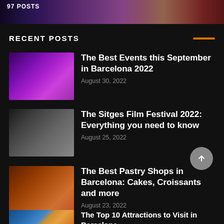[Figure (photo): Concert/event crowd with colorful purple and orange lights, banner showing 97 POSTS]
RECENT POSTS
The Best Events this September in Barcelona 2022 — August 30, 2022
The Sitges Film Festival 2022: Everything you need to know — August 25, 2022
The Best Pastry Shops in Barcelona: Cakes, Croissants and more — August 23, 2022
The Top 10 Attractions to Visit in Barcelona — August 18, 2022